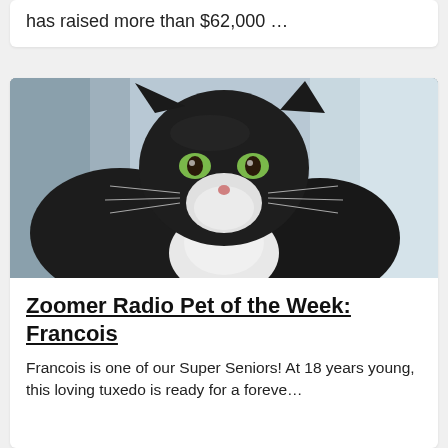has raised more than $62,000 …
[Figure (photo): A black and white tuxedo cat with green eyes lying on light blue/white fabric, looking directly at the camera.]
Zoomer Radio Pet of the Week: Francois
Francois is one of our Super Seniors! At 18 years young, this loving tuxedo is ready for a foreve…